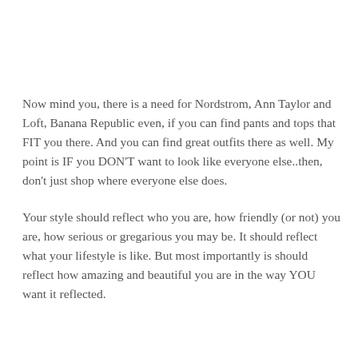Now mind you, there is a need for Nordstrom, Ann Taylor and Loft, Banana Republic even, if you can find pants and tops that FIT you there. And you can find great outfits there as well. My point is IF you DON'T want to look like everyone else..then, don't just shop where everyone else does.
Your style should reflect who you are, how friendly (or not) you are, how serious or gregarious you may be. It should reflect what your lifestyle is like. But most importantly is should reflect how amazing and beautiful you are in the way YOU want it reflected.